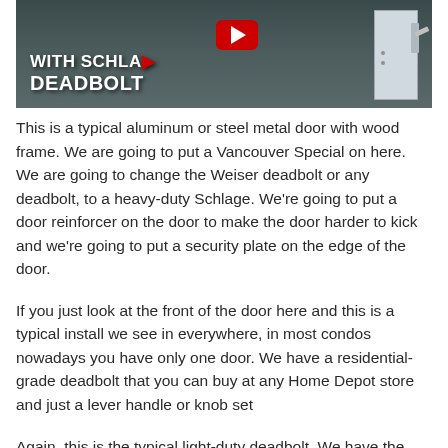[Figure (screenshot): YouTube video thumbnail showing a door with text 'WITH SCHLAGE DEADBOLT' overlaid in white bold text, a red YouTube play button, and a white door frame/hardware visible on the right side against a dark grey door background.]
This is a typical aluminum or steel metal door with wood frame. We are going to put a Vancouver Special on here. We are going to change the Weiser deadbolt or any deadbolt, to a heavy-duty Schlage. We're going to put a door reinforcer on the door to make the door harder to kick and we're going to put a security plate on the edge of the door.
If you just look at the front of the door here and this is a typical install we see in everywhere, in most condos nowadays you have only one door. We have a residential-grade deadbolt that you can buy at any Home Depot store and just a lever handle or knob set
Again, this is the typical light-duty deadbolt. We have the metal frame with wood down the center and the thumb turn on the